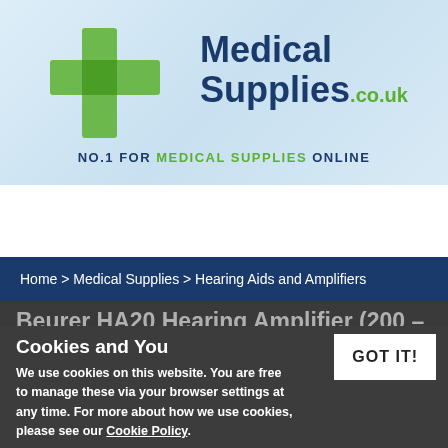[Figure (logo): Medical Supplies .co.uk logo with green plus cross icon and tagline NO.1 FOR MEDICAL SUPPLIES ONLINE on light blue background]
[Figure (infographic): Green navigation bar with five white icons: hamburger menu, search magnifier, home house, person/account, shopping bag]
Home > Medical Supplies > Hearing Aids and Amplifiers
Beurer HA20 Hearing Amplifier (200 - 5000 Hz)
Cookies and You
GOT IT!
We use cookies on this website. You are free to manage these via your browser settings at any time. For more about how we use cookies, please see our Cookie Policy.
(2 Reviews)